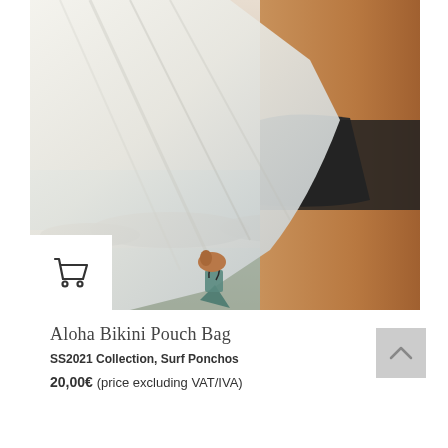[Figure (photo): A person at the beach wearing dark bikini bottoms, holding a flowing white/light fabric (poncho or towel) that billows in the wind, with rocky coastline and sea in the background. A small bag hangs from the hand. A shopping cart icon button is overlaid on the lower left of the photo.]
Aloha Bikini Pouch Bag
SS2021 Collection, Surf Ponchos
20,00€ (price excluding VAT/IVA)